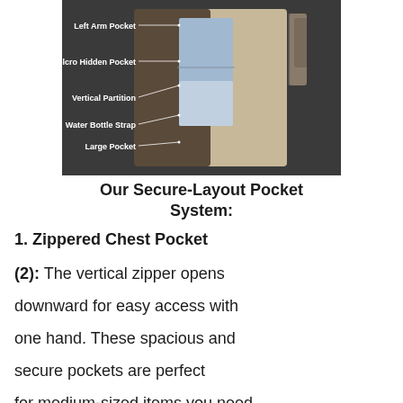[Figure (illustration): Annotated jacket diagram showing internal pocket layout with labeled callouts: Left Arm Pocket, Velcro Hidden Pocket, Vertical Partition, Water Bottle Strap, Large Pocket. Dark background with beige/cream jacket interior visible.]
Our Secure-Layout Pocket System:
1. Zippered Chest Pocket
(2): The vertical zipper opens downward for easy access with one hand. These spacious and secure pockets are perfect for medium-sized items you need handy.